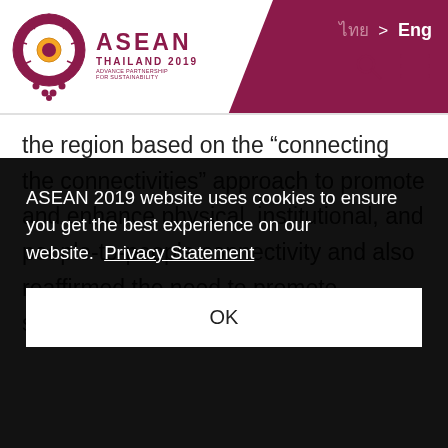[Figure (logo): ASEAN Thailand 2019 logo with circular emblem and text 'ASEAN THAILAND 2019' and tagline 'ADVANCE PARTNERSHIP FOR SUSTAINABILITY']
ไทย > Eng
the region based on the “connecting the connectivities” approach to promote and enhance physical, institutional, and people-to-people connectivity and also reaffirmed the need to promote sustainable, high
ASEAN 2019 website uses cookies to ensure you get the best experience on our website.  Privacy Statement
OK
...e, ...ion, ...asia
...held the 14th East Asia Summit in 2019...